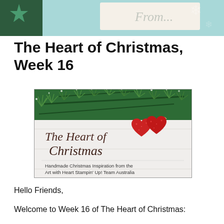[Figure (photo): Top cropped photo showing Christmas gift tags with script text 'From' on cream label, green glitter star decoration, and teal/green patterned wrapping paper]
The Heart of Christmas, Week 16
[Figure (illustration): Promotional banner image for 'The Heart of Christmas' featuring pine/fir branches with snow at top, two red glittery heart ornaments hanging, script text 'The Heart of Christmas' in brown cursive, and subtitle 'Handmade Christmas Inspiration from the Art with Heart Stampin' Up! Team Australia' on a white wooden plank background, all within a thin black border]
Hello Friends,
Welcome to Week 16 of The Heart of Christmas: